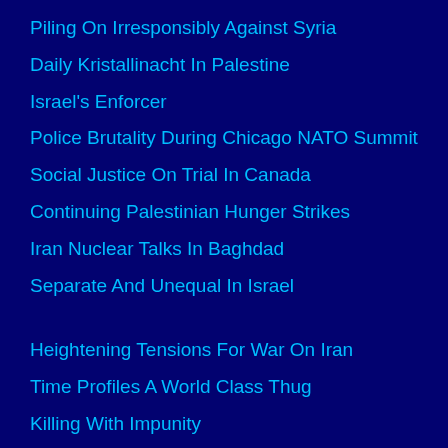Piling On Irresponsibly Against Syria
Daily Kristallinacht In Palestine
Israel's Enforcer
Police Brutality During Chicago NATO Summit
Social Justice On Trial In Canada
Continuing Palestinian Hunger Strikes
Iran Nuclear Talks In Baghdad
Separate And Unequal In Israel
Heightening Tensions For War On Iran
Time Profiles A World Class Thug
Killing With Impunity